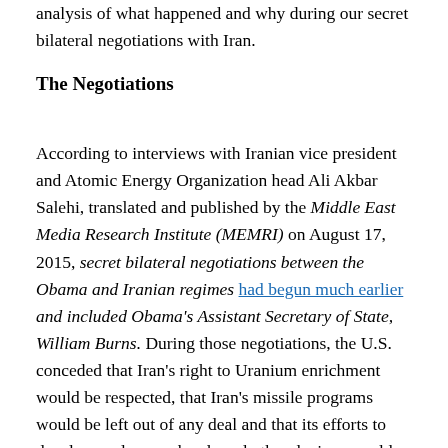analysis of what happened and why during our secret bilateral negotiations with Iran.
The Negotiations
According to interviews with Iranian vice president and Atomic Energy Organization head Ali Akbar Salehi, translated and published by the Middle East Media Research Institute (MEMRI) on August 17, 2015, secret bilateral negotiations between the Obama and Iranian regimes had begun much earlier and included Obama's Assistant Secretary of State, William Burns. During those negotiations, the U.S. conceded that Iran's right to Uranium enrichment would be respected, that Iran's missile programs would be left out of any deal and that its efforts to develop nuclear warheads and other devices would be ignored. Obama had essentially caved in to Iran's demands even before the existence of